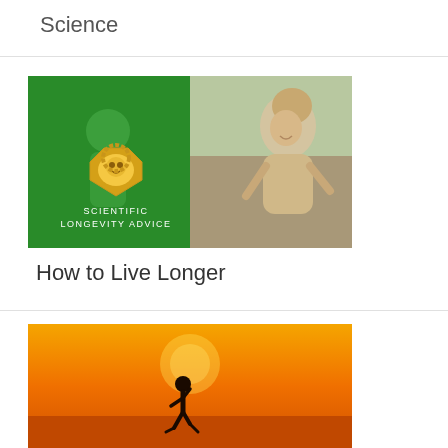Science
[Figure (illustration): Composite image: left half shows green-tinted background with two people and a lion logo badge with text 'SCIENTIFIC LONGEVITY ADVICE'; right half shows a smiling woman outdoors crouching in athletic wear]
How to Live Longer
[Figure (photo): Silhouette of a person running against a warm orange/golden sunset sky]